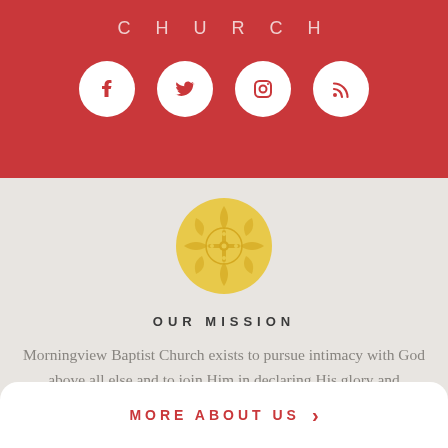CHURCH
[Figure (illustration): Four white social media icons (Facebook, Twitter, Instagram, RSS feed) in white circles on a red background]
[Figure (illustration): Yellow/gold ornate circular cross logo for Morningview Baptist Church]
OUR MISSION
Morningview Baptist Church exists to pursue intimacy with God above all else and to join Him in declaring His glory and advancing His Kingdom among all peoples.
MORE ABOUT US